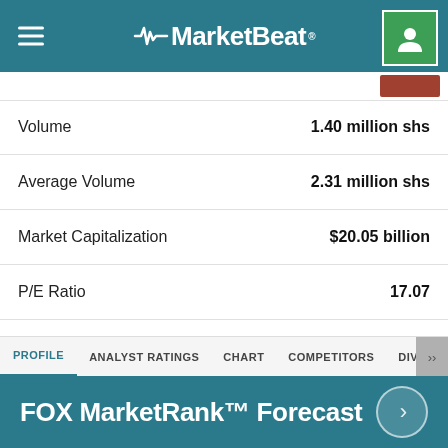MarketBeat
| Metric | Value |
| --- | --- |
| Volume | 1.40 million shs |
| Average Volume | 2.31 million shs |
| Market Capitalization | $20.05 billion |
| P/E Ratio | 17.07 |
| Dividend Yield | 1.33% |
| Price Target | $40.90 |
PROFILE   ANALYST RATINGS   CHART   COMPETITORS   DIVIDEND   EARNINGS
FOX MarketRank™ Forecast